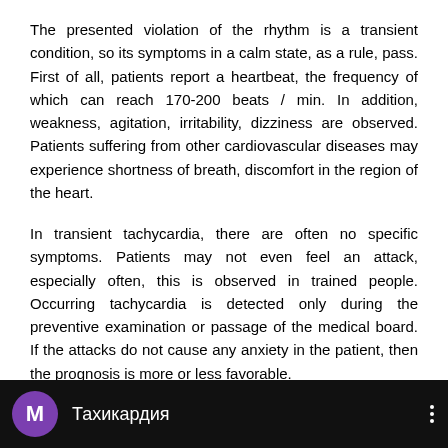The presented violation of the rhythm is a transient condition, so its symptoms in a calm state, as a rule, pass. First of all, patients report a heartbeat, the frequency of which can reach 170-200 beats / min. In addition, weakness, agitation, irritability, dizziness are observed. Patients suffering from other cardiovascular diseases may experience shortness of breath, discomfort in the region of the heart.
In transient tachycardia, there are often no specific symptoms. Patients may not even feel an attack, especially often, this is observed in trained people. Occurring tachycardia is detected only during the preventive examination or passage of the medical board. If the attacks do not cause any anxiety in the patient, then the prognosis is more or less favorable.
Video Tachycardia
[Figure (screenshot): Video thumbnail with dark background. Purple circle with white letter M on the left, followed by Cyrillic text 'Тахикардия' in white, and three-dot menu icon on the right.]